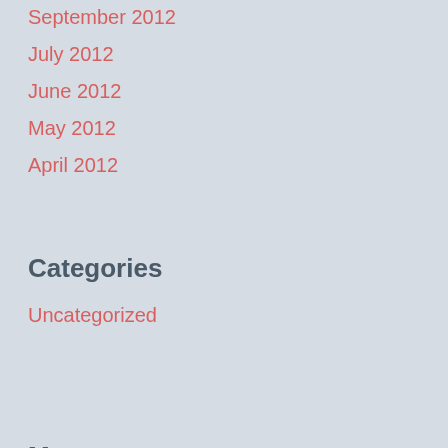September 2012
July 2012
June 2012
May 2012
April 2012
Categories
Uncategorized
Meta